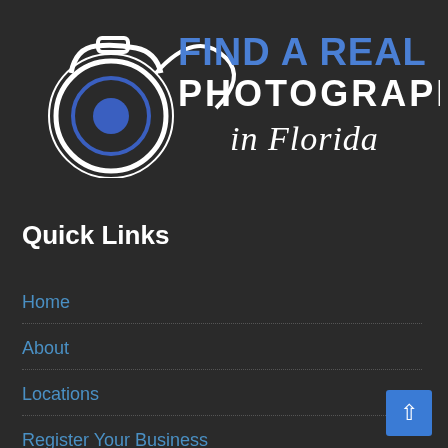[Figure (logo): Find a Real Estate Photographer in Florida logo with camera icon and text]
Quick Links
Home
About
Locations
Register Your Business
Privacy Policy